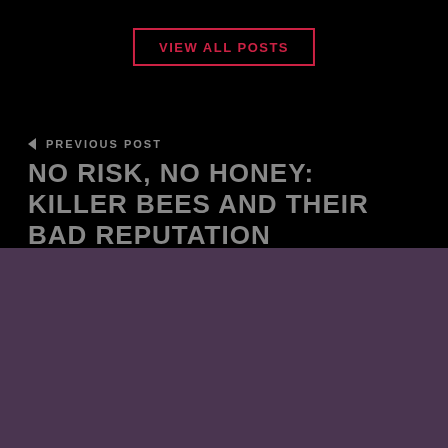VIEW ALL POSTS
◄ PREVIOUS POST
NO RISK, NO HONEY: KILLER BEES AND THEIR BAD REPUTATION
NEXT POST
SLEEPLESS IN AMERICAN DREAM:SLEEP